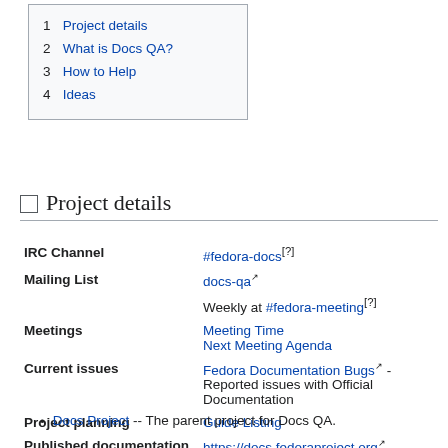1 Project details
2 What is Docs QA?
3 How to Help
4 Ideas
Project details
| IRC Channel | #fedora-docs[?] |
| Mailing List | docs-qa  / Weekly at #fedora-meeting[?] |
| Meetings | Meeting Time / Next Meeting Agenda |
| Current issues | Fedora Documentation Bugs - Reported issues with Official Documentation |
| Project planning | Guide Listing |
| Published documentation | https://docs.fedoraproject.org |
Docs Project -- The parent project for Docs QA.